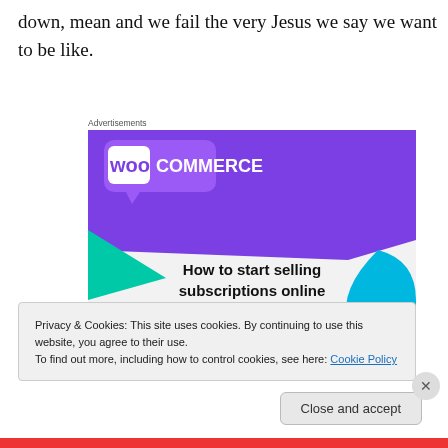down, mean and we fail the very Jesus we say we want to be like.
Advertisements
[Figure (illustration): WooCommerce advertisement banner showing purple logo header with teal and blue decorative shapes and text 'How to start selling subscriptions online']
Privacy & Cookies: This site uses cookies. By continuing to use this website, you agree to their use.
To find out more, including how to control cookies, see here: Cookie Policy
Close and accept